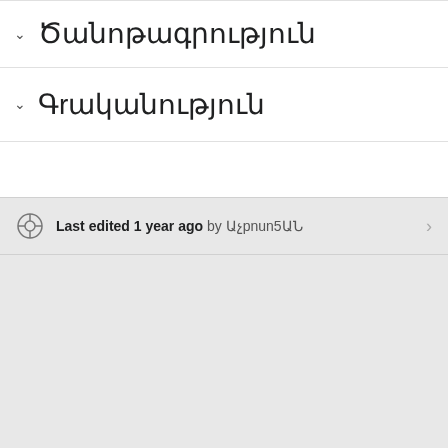Ծանոթագրություն
Գրականություն
Last edited 1 year ago by Աչpnun5ԱՆ